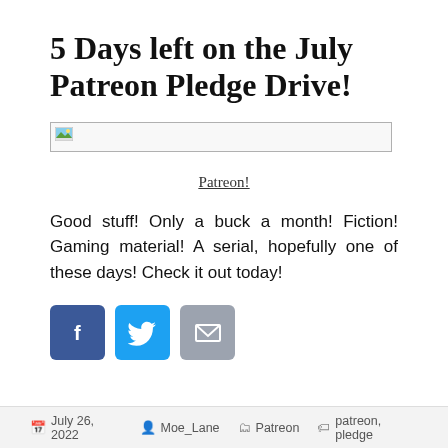5 Days left on the July Patreon Pledge Drive!
[Figure (photo): Broken/placeholder image thumbnail with small landscape icon in top-left corner]
Patreon!
Good stuff! Only a buck a month! Fiction! Gaming material! A serial, hopefully one of these days! Check it out today!
[Figure (other): Three social share buttons: Facebook (dark blue with f icon), Twitter (light blue with bird icon), Email (grey with envelope icon)]
July 26, 2022  Moe_Lane  Patreon  patreon, pledge